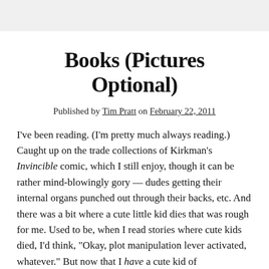Books (Pictures Optional)
Published by Tim Pratt on February 22, 2011
I've been reading. (I'm pretty much always reading.) Caught up on the trade collections of Kirkman's Invincible comic, which I still enjoy, though it can be rather mind-blowingly gory — dudes getting their internal organs punched out through their backs, etc. And there was a bit where a cute little kid dies that was rough for me. Used to be, when I read stories where cute kids died, I'd think, "Okay, plot manipulation lever activated, whatever." But now that I have a cute kid of